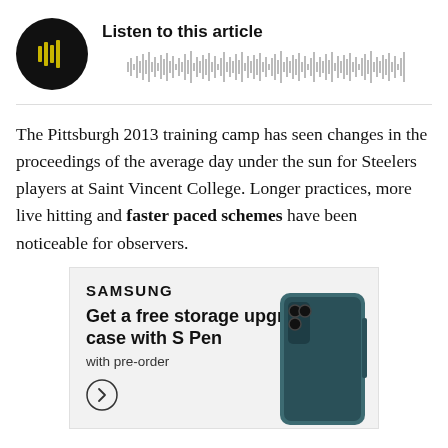[Figure (other): Audio player widget with black circular play button with yellow/gold speaker icon and waveform visualization. Title reads 'Listen to this article'.]
The Pittsburgh 2013 training camp has seen changes in the proceedings of the average day under the sun for Steelers players at Saint Vincent College. Longer practices, more live hitting and faster paced schemes have been noticeable for observers.
[Figure (other): Samsung advertisement. Text reads: SAMSUNG. Get a free storage upgrade and case with S Pen. with pre-order. Arrow button. Image of Samsung Galaxy Z Fold phone.]